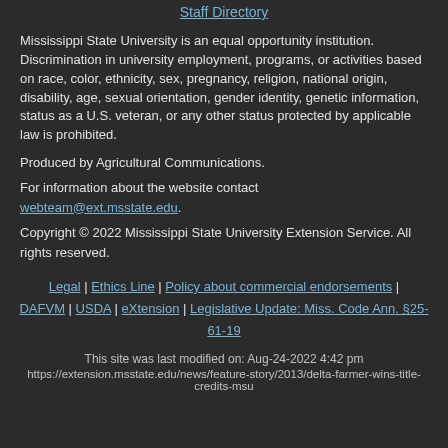Staff Directory
Mississippi State University is an equal opportunity institution. Discrimination in university employment, programs, or activities based on race, color, ethnicity, sex, pregnancy, religion, national origin, disability, age, sexual orientation, gender identity, genetic information, status as a U.S. veteran, or any other status protected by applicable law is prohibited.
Produced by Agricultural Communications.
For information about the website contact webteam@ext.msstate.edu.
Copyright © 2022 Mississippi State University Extension Service. All rights reserved.
Legal | Ethics Line | Policy about commercial endorsements | DAFVM | USDA | eXtension | Legislative Update: Miss. Code Ann. §25-61-19
This site was last modified on: Aug-24-2022 4:42 pm
https://extension.msstate.edu/news/feature-story/2013/delta-farmer-wins-title-credits-msu